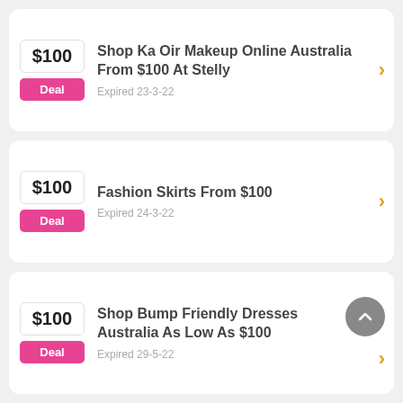Shop Ka Oir Makeup Online Australia From $100 At Stelly — Expired 23-3-22
Fashion Skirts From $100 — Expired 24-3-22
Shop Bump Friendly Dresses Australia As Low As $100 — Expired 29-5-22